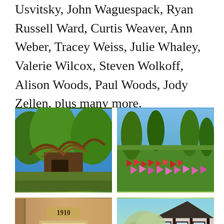Usvitsky, John Waguespack, Ryan Russell Ward, Curtis Weaver, Ann Weber, Tracey Weiss, Julie Whaley, Valerie Wilcox, Steven Wolkoff, Alison Woods, Paul Woods, Jody Zellen, plus many more.
[Figure (photo): Rustic house with twisting vine/wood structure over entrance, surrounded by lush green trees and shrubs]
[Figure (photo): Open grassy field with many pink and red small flags or markers arranged in rows, trees in background]
[Figure (photo): Close-up of a building entrance with address number 1910 above the door, decorative door with colorful window pattern]
[Figure (photo): Tudor-style house with white and dark timber framing, with a large olive or silver-leafed tree in front]